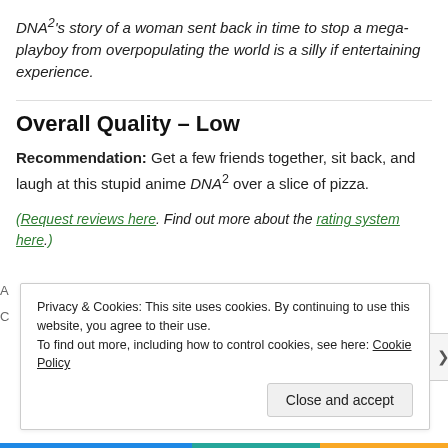DNA²'s story of a woman sent back in time to stop a mega-playboy from overpopulating the world is a silly if entertaining experience.
Overall Quality – Low
Recommendation: Get a few friends together, sit back, and laugh at this stupid anime DNA² over a slice of pizza.
(Request reviews here. Find out more about the rating system here.)
Privacy & Cookies: This site uses cookies. By continuing to use this website, you agree to their use. To find out more, including how to control cookies, see here: Cookie Policy